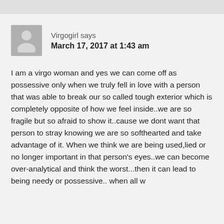[Figure (illustration): Generic user avatar icon — grey silhouette of a person on a grey background]
Virgogirl says
March 17, 2017 at 1:43 am
I am a virgo woman and yes we can come off as possessive only when we truly fell in love with a person that was able to break our so called tough exterior which is completely opposite of how we feel inside..we are so fragile but so afraid to show it..cause we dont want that person to stray knowing we are so softhearted and take advantage of it. When we think we are being used,lied or no longer important in that person's eyes..we can become over-analytical and think the worst...then it can lead to being needy or possessive.. when all w